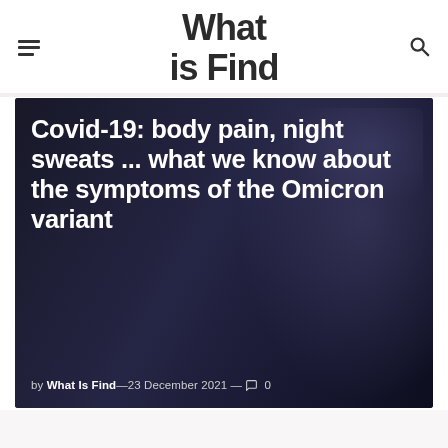What is Find
[Figure (photo): Dark background photo of a person in low light, overlaid with large white bold article headline text: 'Covid-19: body pain, night sweats ... what we know about the symptoms of the Omicron variant'. Below the headline is byline text: 'by What Is Find—23 December 2021 — comment icon 0']
Covid-19: body pain, night sweats ... what we know about the symptoms of the Omicron variant
by What Is Find—23 December 2021 — 0